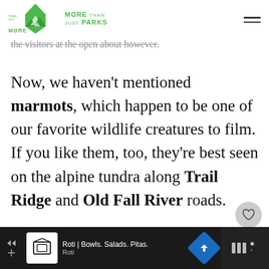MORE THAN JUST PARKS
...at the open about however.
Now, we haven't mentioned marmots, which happen to be one of our favorite wildlife creatures to film. If you like them, too, they're best seen on the alpine tundra along Trail Ridge and Old Fall River roads.